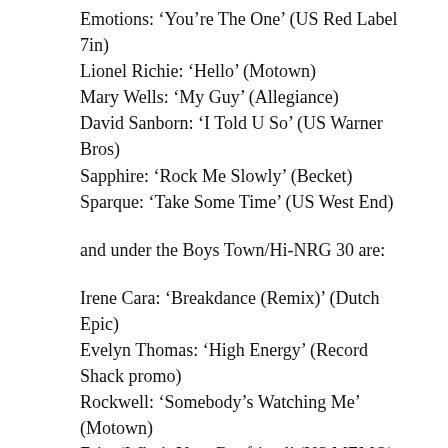Emotions: ‘You’re The One’ (US Red Label 7in)
Lionel Richie: ‘Hello’ (Motown)
Mary Wells: ‘My Guy’ (Allegiance)
David Sanborn: ‘I Told U So’ (US Warner Bros)
Sapphire: ‘Rock Me Slowly’ (Becket)
Sparque: ‘Take Some Time’ (US West End)
and under the Boys Town/Hi-NRG 30 are:
Irene Cara: ‘Breakdance (Remix)’ (Dutch Epic)
Evelyn Thomas: ‘High Energy’ (Record Shack promo)
Rockwell: ‘Somebody’s Watching Me’ (Motown)
Eric: ‘Who’s Your Boyfriend’ (US MEMO)
Christopher Street: ‘Happiness’ (ERC)